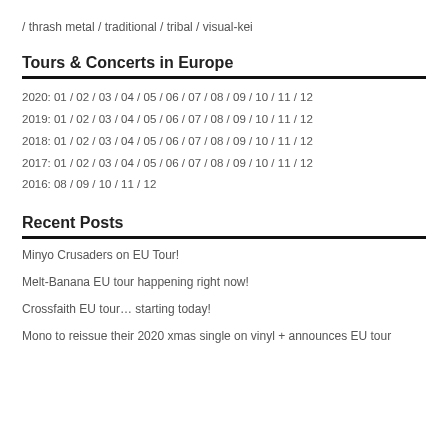/ thrash metal / traditional / tribal / visual-kei
Tours & Concerts in Europe
2020: 01 / 02 / 03 / 04 / 05 / 06 / 07 / 08 / 09 / 10 / 11 / 12
2019: 01 / 02 / 03 / 04 / 05 / 06 / 07 / 08 / 09 / 10 / 11 / 12
2018: 01 / 02 / 03 / 04 / 05 / 06 / 07 / 08 / 09 / 10 / 11 / 12
2017: 01 / 02 / 03 / 04 / 05 / 06 / 07 / 08 / 09 / 10 / 11 / 12
2016: 08 / 09 / 10 / 11 / 12
Recent Posts
Minyo Crusaders on EU Tour!
Melt-Banana EU tour happening right now!
Crossfaith EU tour… starting today!
Mono to reissue their 2020 xmas single on vinyl + announces EU tour